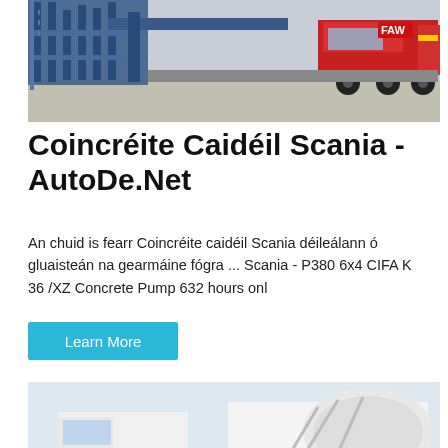[Figure (photo): A red FAW truck with blue industrial concrete pump/mixing equipment mounted on a trailer, parked on a concrete surface in what appears to be an industrial yard.]
Coincréite Caidéil Scania - AutoDe.Net
An chuid is fearr Coincréite caidéil Scania déileálann ó gluaisteán na gearmáine fógra ... Scania - P380 6x4 CIFA K 36 /XZ Concrete Pump 632 hours onl
Learn More
[Figure (photo): White concrete mixer trucks parked outdoors against a light blue sky background.]
Send Message
Inquiry Online